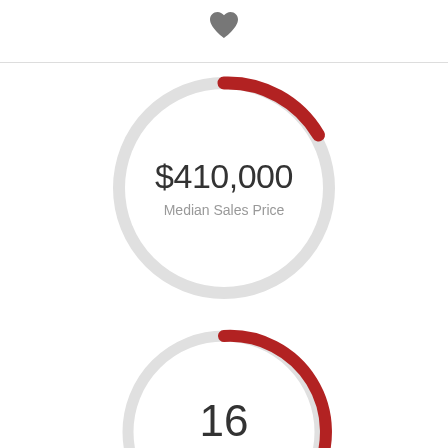[Figure (donut-chart): Median Sales Price]
[Figure (donut-chart): Homes Sold]